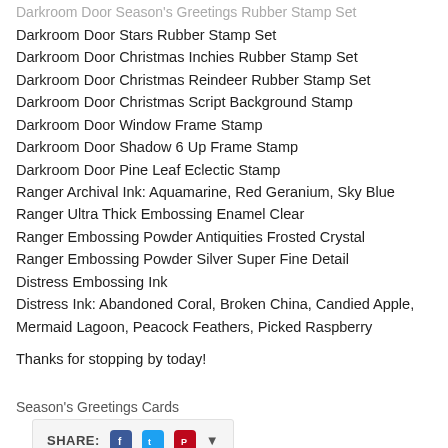Darkroom Door Season's Greetings Rubber Stamp Set
Darkroom Door Stars Rubber Stamp Set
Darkroom Door Christmas Inchies Rubber Stamp Set
Darkroom Door Christmas Reindeer Rubber Stamp Set
Darkroom Door Christmas Script Background Stamp
Darkroom Door Window Frame Stamp
Darkroom Door Shadow 6 Up Frame Stamp
Darkroom Door Pine Leaf Eclectic Stamp
Ranger Archival Ink: Aquamarine, Red Geranium, Sky Blue
Ranger Ultra Thick Embossing Enamel Clear
Ranger Embossing Powder Antiquities Frosted Crystal
Ranger Embossing Powder Silver Super Fine Detail
Distress Embossing Ink
Distress Ink: Abandoned Coral, Broken China, Candied Apple, Mermaid Lagoon, Peacock Feathers, Picked Raspberry
Thanks for stopping by today!
Season's Greetings Cards
SHARE: [Facebook] [Twitter] [Pinterest] [dropdown]